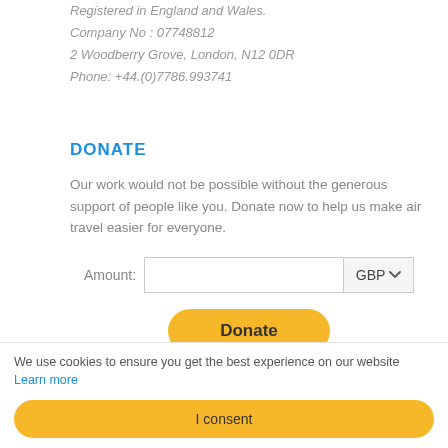Registered in England and Wales.
Company No : 07748812
2 Woodberry Grove, London, N12 0DR
Phone: +44.(0)7786.993741
DONATE
Our work would not be possible without the generous support of people like you. Donate now to help us make air travel easier for everyone.
[Figure (other): Donation form with Amount input field, GBP currency dropdown, a yellow Donate button, and payment method icons (VISA, Mastercard, Maestro, American Express, Discover, another card)]
NEWSLETTER
We use cookies to ensure you get the best experience on our website Learn more
I consent